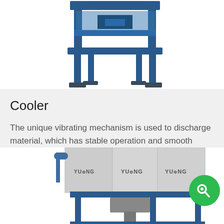[Figure (photo): Blue steel industrial cooler/conveyor machine with legs, viewed from angle, on white background — top portion cropped]
Cooler
The unique vibrating mechanism is used to discharge material, which has stable operation and smooth discharge. Using the principle of counter-flow cooling, the particles are fully and uniformly coo
[Figure (photo): Large boxy industrial machine in grey/white with blue frame structure, branded YULONG on the side panels, bottom portion shown]
[Figure (other): Green circular chat/messenger button overlay icon]